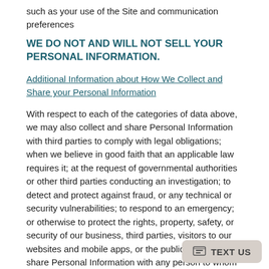such as your use of the Site and communication preferences
WE DO NOT AND WILL NOT SELL YOUR PERSONAL INFORMATION.
Additional Information about How We Collect and Share your Personal Information
With respect to each of the categories of data above, we may also collect and share Personal Information with third parties to comply with legal obligations; when we believe in good faith that an applicable law requires it; at the request of governmental authorities or other third parties conducting an investigation; to detect and protect against fraud, or any technical or security vulnerabilities; to respond to an emergency; or otherwise to protect the rights, property, safety, or security of our business, third parties, visitors to our websites and mobile apps, or the public. We may also share Personal Information with any person to whom we transfer any of our rights or obligations under any agreement, or in connection with a sale, merger or consolidation of our business or other transfer of our assets, whether voluntarily or by operation of law, or who is otherwise deemed to be our successor or transferee.
PERSONAL INFORMATION WE MAY